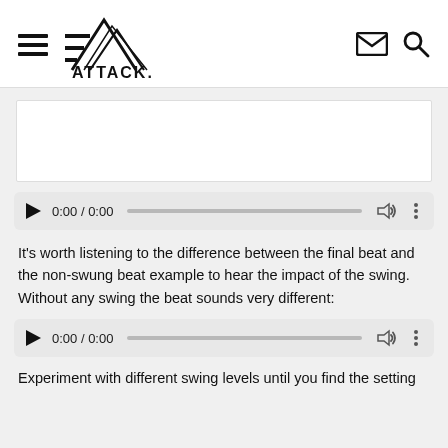[Figure (logo): Attack. magazine logo with mountain/triangle graphic and ATTACK. text]
[Figure (screenshot): White rectangle placeholder for an image or advertisement]
[Figure (screenshot): Audio player showing 0:00 / 0:00 with play button, progress bar, volume and more icons]
It's worth listening to the difference between the final beat and the non-swung beat example to hear the impact of the swing. Without any swing the beat sounds very different:
[Figure (screenshot): Audio player showing 0:00 / 0:00 with play button, progress bar, volume and more icons]
Experiment with different swing levels until you find the setting